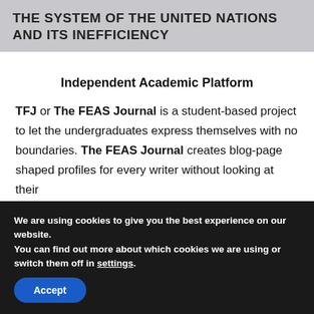THE SYSTEM OF THE UNITED NATIONS AND ITS INEFFICIENCY
Independent Academic Platform
TFJ or The FEAS Journal is a student-based project to let the undergraduates express themselves with no boundaries. The FEAS Journal creates blog-page shaped profiles for every writer without looking at their
We are using cookies to give you the best experience on our website.
You can find out more about which cookies we are using or switch them off in settings.
Accept